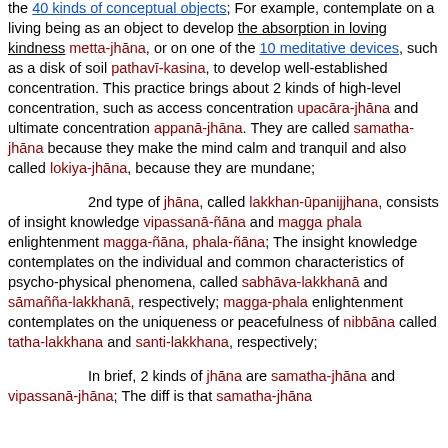...to develop a high level of concentration by contemplating one of the 40 kinds of conceptual objects; For example, contemplate on a living being as an object to develop the absorption in loving kindness metta-jhāna, or on one of the 10 meditative devices, such as a disk of soil pathavī-kasina, to develop well-established concentration. This practice brings about 2 kinds of high-level concentration, such as access concentration upacāra-jhāna and ultimate concentration appanā-jhāna. They are called samatha-jhāna because they make the mind calm and tranquil and also called lokiya-jhāna, because they are mundane;
2nd type of jhāna, called lakkhan-ūpanijjhana, consists of insight knowledge vipassanā-ñāna and magga phala enlightenment magga-ñāna, phala-ñāna; The insight knowledge contemplates on the individual and common characteristics of psycho-physical phenomena, called sabhāva-lakkhanā and sāmañña-lakkhanā, respectively; magga-phala enlightenment contemplates on the uniqueness or peacefulness of nibbāna called tatha-lakkhana and santi-lakkhana, respectively;
In brief, 2 kinds of jhāna are samatha-jhāna and vipassanā-jhāna; The diff is that samatha-jhāna